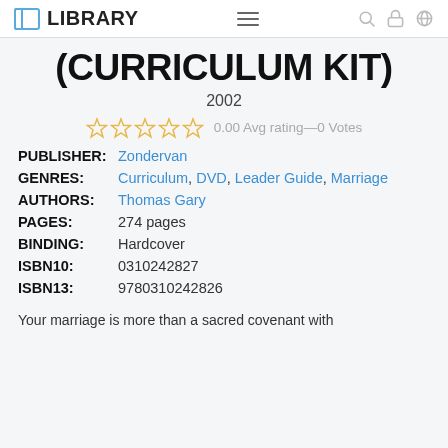LIBRARY
(CURRICULUM KIT)
2002
0.00 Avg rating—0 Votes
| Field | Value |
| --- | --- |
| PUBLISHER: | Zondervan |
| GENRES: | Curriculum, DVD, Leader Guide, Marriage |
| AUTHORS: | Thomas Gary |
| PAGES: | 274 pages |
| BINDING: | Hardcover |
| ISBN10: | 0310242827 |
| ISBN13: | 9780310242826 |
Your marriage is more than a sacred covenant with